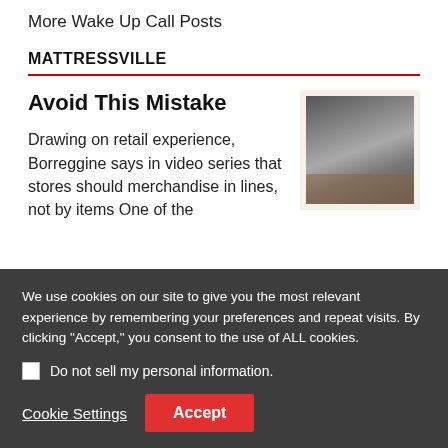More Wake Up Call Posts
MATTRESSVILLE
Avoid This Mistake
[Figure (photo): Interior of a mattress showroom with rows of mattresses on display and industrial ceiling lighting]
Drawing on retail experience, Borreggine says in video series that stores should merchandise in lines, not by items One of the
We use cookies on our site to give you the most relevant experience by remembering your preferences and repeat visits. By clicking "Accept," you consent to the use of ALL cookies.
Do not sell my personal information.
Cookie Settings
Accept